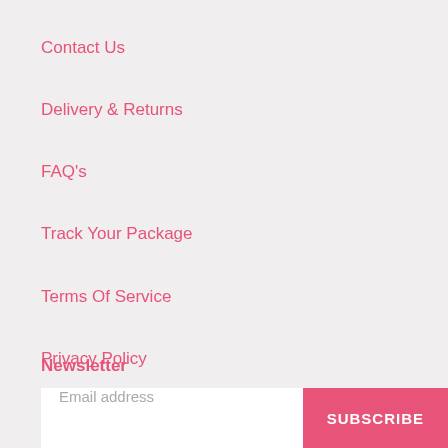Contact Us
Delivery & Returns
FAQ's
Track Your Package
Terms Of Service
Privacy Policy
Newsletter
Email address
SUBSCRIBE